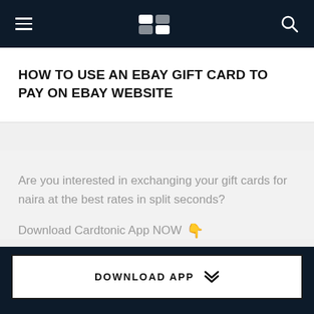Cardtonic navigation bar with hamburger menu, logo, and search icon
HOW TO USE AN EBAY GIFT CARD TO PAY ON EBAY WEBSITE
Are you interested in exchanging your gift cards for naira at the best rates in split seconds?
Download Cardtonic App NOW 👇
DOWNLOAD APP